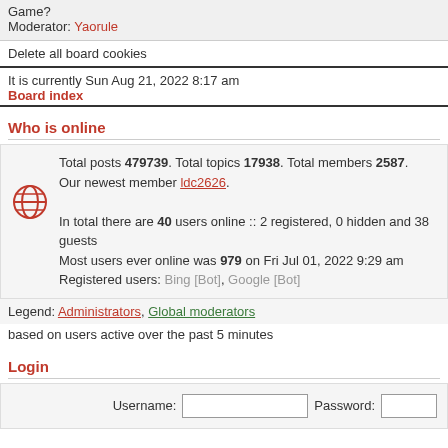Game? Moderator: Yaorule
Delete all board cookies
It is currently Sun Aug 21, 2022 8:17 am
Board index
Who is online
Total posts 479739. Total topics 17938. Total members 2587. Our newest member ldc2626. In total there are 40 users online :: 2 registered, 0 hidden and 38 guests Most users ever online was 979 on Fri Jul 01, 2022 9:29 am Registered users: Bing [Bot], Google [Bot]
Legend: Administrators, Global moderators
based on users active over the past 5 minutes
Login
Username: [input] Password: [input]
New posts   Forum lock
Powered by phpBB // Template by Mike